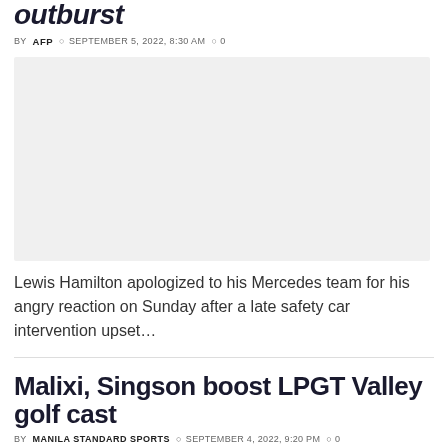outburst
BY AFP  SEPTEMBER 5, 2022, 8:30 AM  0
[Figure (photo): Gray placeholder image for article about Lewis Hamilton]
Lewis Hamilton apologized to his Mercedes team for his angry reaction on Sunday after a late safety car intervention upset...
Malixi, Singson boost LPGT Valley golf cast
BY MANILA STANDARD SPORTS  SEPTEMBER 4, 2022, 9:20 PM  0
[Figure (photo): Gray placeholder image for second article]